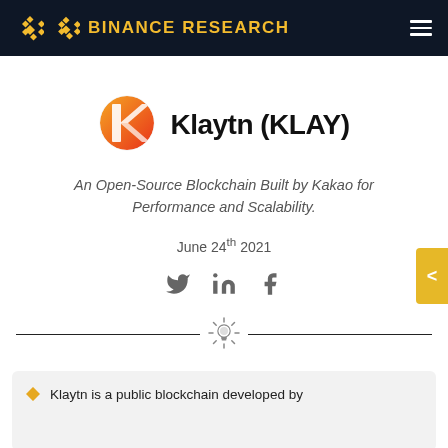BINANCE RESEARCH
[Figure (logo): Klaytn logo — circular badge with stylized K letter in red-orange gradient]
Klaytn (KLAY)
An Open-Source Blockchain Built by Kakao for Performance and Scalability.
June 24th 2021
[Figure (other): Social media icons: Twitter, LinkedIn, Facebook]
[Figure (other): Horizontal divider with lightbulb icon in center]
Klaytn is a public blockchain developed by